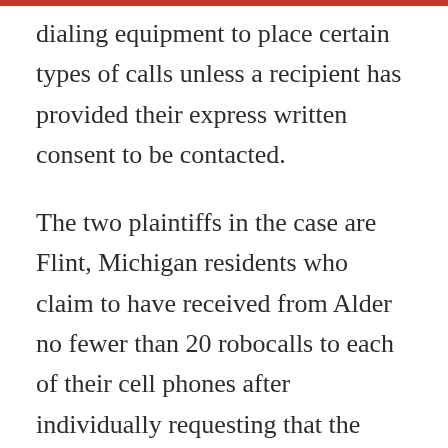dialing equipment to place certain types of calls unless a recipient has provided their express written consent to be contacted.
The two plaintiffs in the case are Flint, Michigan residents who claim to have received from Alder no fewer than 20 robocalls to each of their cell phones after individually requesting that the calls cease.
According to the suit, the plaintiffs initially signed up for Alder's home security services in 2016. The consumers canceled the